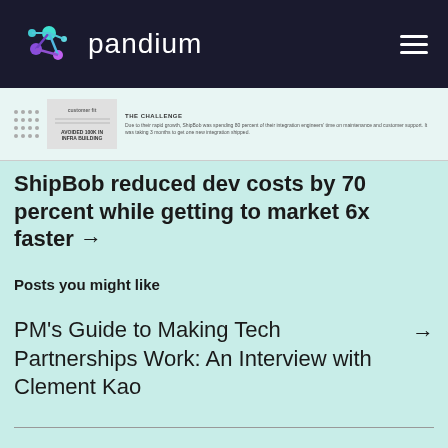pandium
[Figure (screenshot): Preview thumbnail of a document page with dot grid, a text block labeled 'AVOIDED 100K IN INFRA BUILDING', and a section labeled 'THE CHALLENGE' with small body text]
ShipBob reduced dev costs by 70 percent while getting to market 6x faster →
Posts you might like
PM's Guide to Making Tech Partnerships Work: An Interview with Clement Kao →